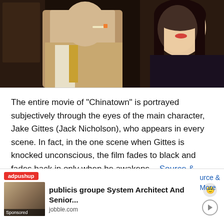[Figure (photo): Film still from Chinatown showing two characters — a man in a suit with a tie (left) and a woman (right) — in a dark, moody scene.]
The entire movie of "Chinatown" is portrayed subjectively through the eyes of the main character, Jake Gittes (Jack Nicholson), who appears in every scene. In fact, in the one scene when Gittes is knocked unconscious, the film fades to black and fades back in only when he awakens. - Source & More
17. Mouse's shotguns in The Matrix were working models that fired 900 rounds per minute. It used a unique cam-driven design … - Source & More
[Figure (screenshot): Ad overlay: adpushup badge with a sponsored job listing for 'publicis groupe System Architect And Senior...' from jobble.com with thumbnail image and icons.]